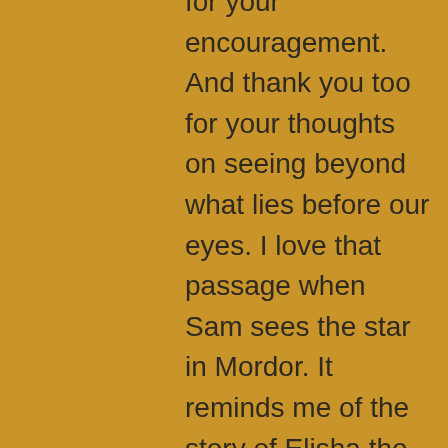for your encouragement. And thank you too for your thoughts on seeing beyond what lies before our eyes. I love that passage when Sam sees the star in Mordor. It reminds me of the story of Elisha the prophet showing his servant the army of angels surrounding the